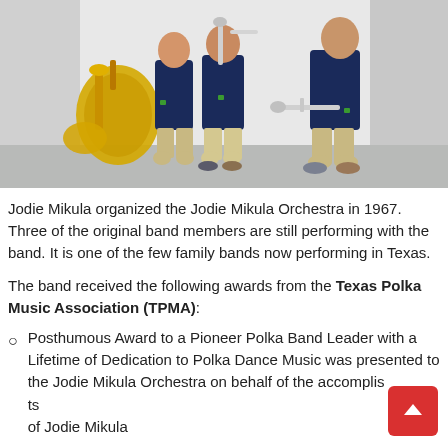[Figure (photo): Three men in navy polo shirts kneeling/sitting on the floor holding brass instruments including a tuba and two trumpets, in front of a white draped backdrop.]
Jodie Mikula organized the Jodie Mikula Orchestra in 1967.  Three of the original band members are still performing with the band. It is one of the few family bands now performing in Texas.
The band received the following awards from the Texas Polka Music Association (TPMA):
Posthumous Award to a Pioneer Polka Band Leader with a Lifetime of Dedication to Polka Dance Music was presented to the Jodie Mikula Orchestra on behalf of the accomplishments of Jodie Mikula